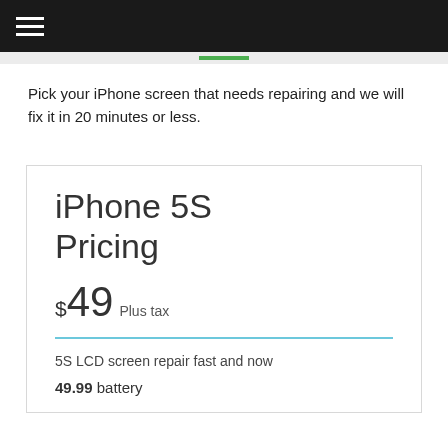Navigation bar with hamburger menu
Pick your iPhone screen that needs repairing and we will fix it in 20 minutes or less.
iPhone 5S Pricing
$49 Plus tax
5S LCD screen repair fast and now
49.99  battery